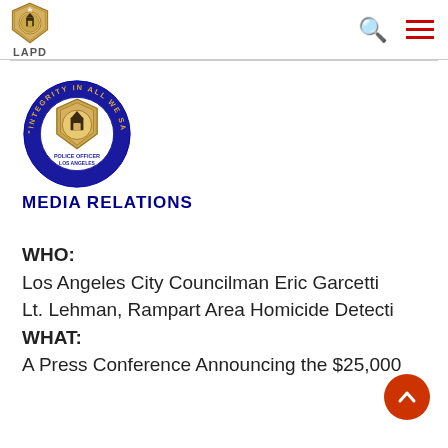[Figure (logo): LAPD badge logo in header with search and menu icons]
[Figure (logo): LAPD Media Relations badge with circular blue border reading 'INTEGRITY IN ALL WE SAY AND DO' and 'MEDIA RELATIONS' text below]
WHO:
Los Angeles City Councilman Eric Garcetti
Lt. Lehman, Rampart Area Homicide Detecti
WHAT:
A Press Conference Announcing the $25,000